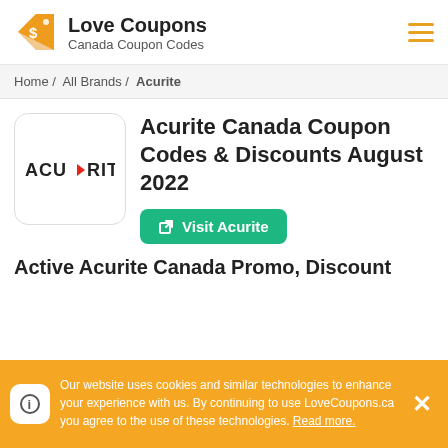Love Coupons — Canada Coupon Codes
Home / All Brands / Acurite
[Figure (logo): Acurite brand logo in white rounded square box, text ACU-RITE with red arrow]
Acurite Canada Coupon Codes & Discounts August 2022
Visit Acurite
Active Acurite Canada Promo, Discount
Our website uses cookies and similar technologies to enhance your experience with us. By continuing to use LoveCoupons.ca you agree to the use of these technologies. Read more.